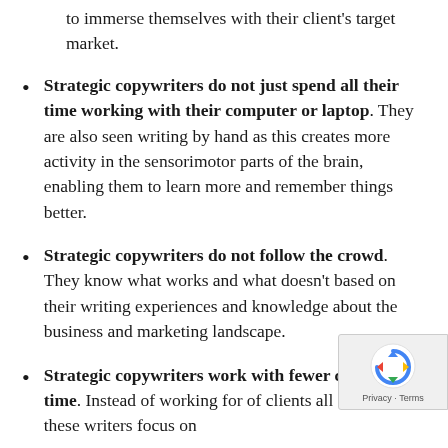to immerse themselves with their client's target market.
Strategic copywriters do not just spend all their time working with their computer or laptop. They are also seen writing by hand as this creates more activity in the sensorimotor parts of the brain, enabling them to learn more and remember things better.
Strategic copywriters do not follow the crowd. They know what works and what doesn't based on their writing experiences and knowledge about the business and marketing landscape.
Strategic copywriters work with fewer clients at a time. Instead of working for of clients all at once, these writers focus on